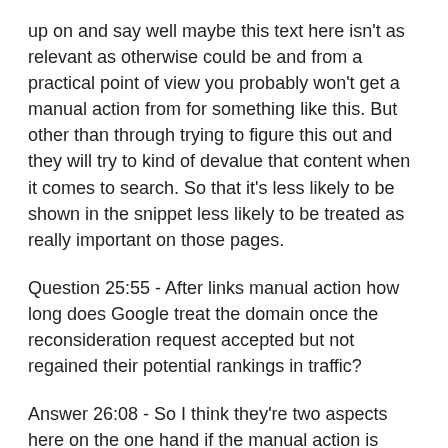up on and say well maybe this text here isn't as relevant as otherwise could be and from a practical point of view you probably won't get a manual action from for something like this. But other than through trying to figure this out and they will try to kind of devalue that content when it comes to search. So that it's less likely to be shown in the snippet less likely to be treated as really important on those pages.
Question 25:55 - After links manual action how long does Google treat the domain once the reconsideration request accepted but not regained their potential rankings in traffic?
Answer 26:08 - So I think they're two aspects here on the one hand if the manual action is resolved then pretty much directly that site will be visible in search without that manual action. So there's one exception here where if a site is removed for pure spam reasons then it'll essentially be